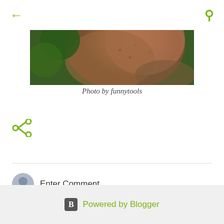[Figure (photo): Partial top view showing brown/green tones — photo navigation area with back arrow and search icon]
[Figure (photo): Close-up photo of what appears to be an animal or textured brown/green surface, cropped at top]
Photo by funnytools
[Figure (other): Share icon (olive/green color)]
Enter Comment
Powered by Blogger